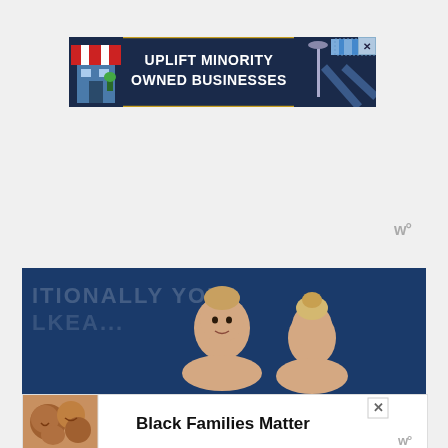[Figure (illustration): Promotional banner ad with dark navy background and gold border. Left side shows a cartoon storefront with red/white striped awning. Center text reads 'UPLIFT MINORITY OWNED BUSINESSES' in bold white text. Right side shows a street lamp and perspective street scene. Top-right has a close/X button.]
[Figure (logo): Small weather widget logo showing 'w°' symbol in gray, positioned on the right side of the page.]
[Figure (photo): Photo of two people (women) with blonde hair against a dark navy blue background. Partial text visible in the background reading 'ITIONALLY YOUR' and partial second line. One person faces forward, the other is seen from behind.]
[Figure (illustration): Bottom advertisement banner with white background. Left side shows a photo of smiling Black family members. Center text reads 'Black Families Matter' in bold black text. Right side has an X close button and a 'w°' weather logo.]